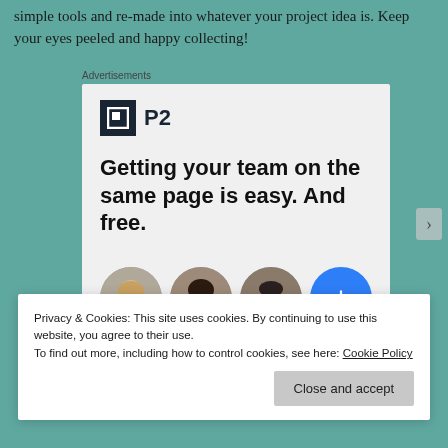simple tools and re-made into whatever your project idea is. Keep your eyes peeled and happy collecting!
Advertisements
[Figure (screenshot): P2 advertisement banner showing logo, headline 'Getting your team on the same page is easy. And free.' with three profile photo avatars and a blue plus circle button]
Privacy & Cookies: This site uses cookies. By continuing to use this website, you agree to their use.
To find out more, including how to control cookies, see here: Cookie Policy
Close and accept